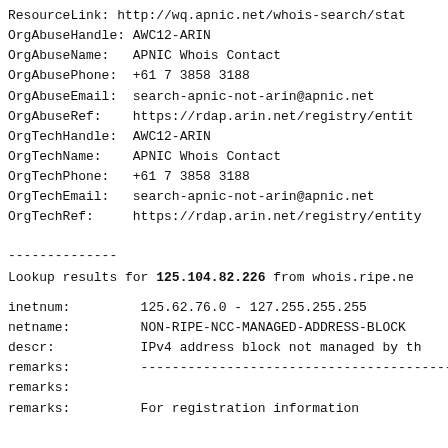ResourceLink: http://wq.apnic.net/whois-search/stat
OrgAbuseHandle: AWC12-ARIN
OrgAbuseName:   APNIC Whois Contact
OrgAbusePhone:  +61 7 3858 3188
OrgAbuseEmail:  search-apnic-not-arin@apnic.net
OrgAbuseRef:    https://rdap.arin.net/registry/entit
OrgTechHandle:  AWC12-ARIN
OrgTechName:    APNIC Whois Contact
OrgTechPhone:   +61 7 3858 3188
OrgTechEmail:   search-apnic-not-arin@apnic.net
OrgTechRef:     https://rdap.arin.net/registry/entity
--------------
Lookup results for 125.104.82.226 from whois.ripe.ne
inetnum:         125.62.76.0 - 127.255.255.255
netname:         NON-RIPE-NCC-MANAGED-ADDRESS-BLOCK
descr:           IPv4 address block not managed by th
remarks:         ----------------------------------------
remarks:
remarks:         For registration information